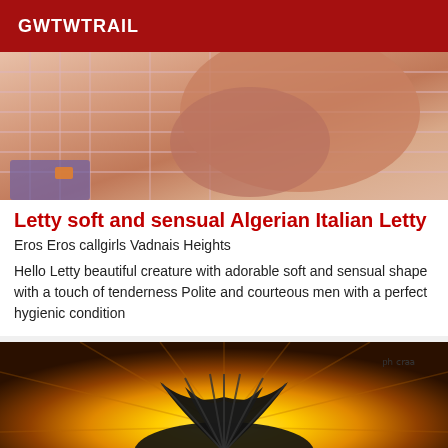GWTWTRAIL
[Figure (photo): Close-up photo of a person's body with pink and white checkered fabric/clothing in the background, warm tones with a vintage filter.]
Letty soft and sensual Algerian Italian Letty
Eros Eros callgirls Vadnais Heights
Hello Letty beautiful creature with adorable soft and sensual shape with a touch of tenderness Polite and courteous men with a perfect hygienic condition
[Figure (photo): Photo with a bright yellow/golden radial sunburst background with a dark silhouette of a decorative fan or flower shape in the center. Small mirrored text watermark visible in top right corner.]